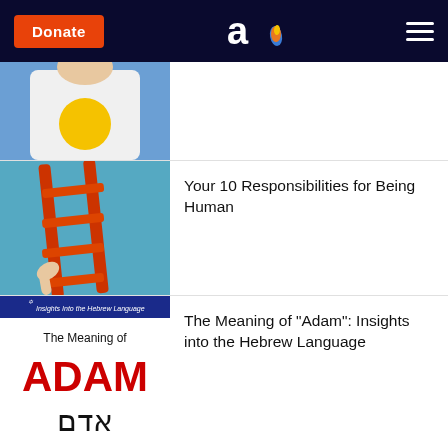Donate | Aish.com logo | Menu
[Figure (photo): Partial view of a person wearing a white shirt with a yellow circular logo, blue background - top portion cut off]
[Figure (photo): Red ladder leaning against a wall with hands reaching up, teal/blue background]
Your 10 Responsibilities for Being Human
[Figure (illustration): Graphic reading 'Insights into the Hebrew Language - The Meaning of ADAM' with Hebrew letters below, red and black text on white background]
The Meaning of "Adam": Insights into the Hebrew Language
[Figure (photo): Parchment-style image with 'Isaiah 53' text]
Isaiah 53: The Suffering Servant